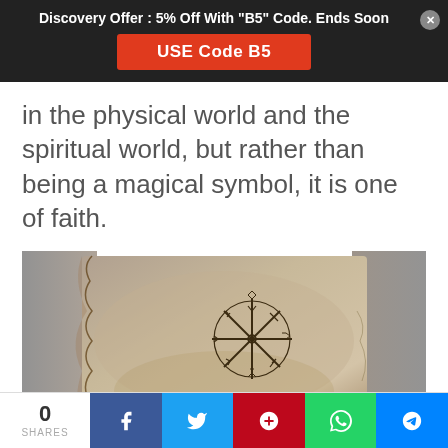Discovery Offer : 5% Off With "B5" Code. Ends Soon
USE Code B5
in the physical world and the spiritual world, but rather than being a magical symbol, it is one of faith.
[Figure (photo): A Viking compass (Vegvisir) symbol drawn or burned onto a piece of aged leather or animal hide, placed against a grey furry background.]
0 SHARES | Facebook | Twitter | Pinterest | WhatsApp | Messenger